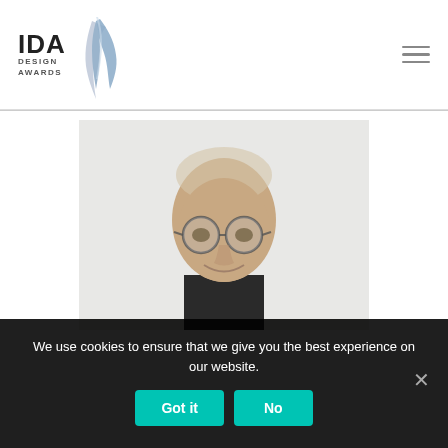[Figure (logo): IDA Design Awards logo with stylized bird/arrow shape in blue-grey tones]
[Figure (photo): Headshot of an older man with glasses, light hair, smiling, wearing a dark jacket, against a light background]
We use cookies to ensure that we give you the best experience on our website.
Got it
No